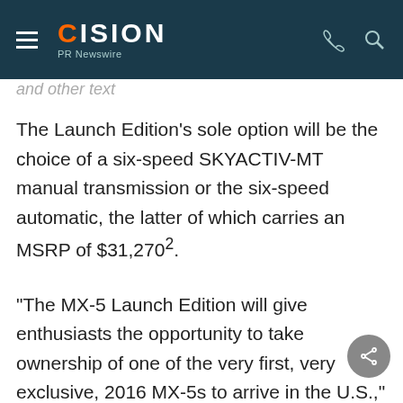CISION PR Newswire
The Launch Edition's sole option will be the choice of a six-speed SKYACTIV-MT manual transmission or the six-speed automatic, the latter of which carries an MSRP of $31,270².
"The MX-5 Launch Edition will give enthusiasts the opportunity to take ownership of one of the very first, very exclusive, 2016 MX-5s to arrive in the U.S.," said Jim O'Sullivan, president and CEO, MNAO. "Along with the privilege of exclusivity and being among the first 1,000 to take delivery, owners will able to enjoy one of the purest expressions of open-